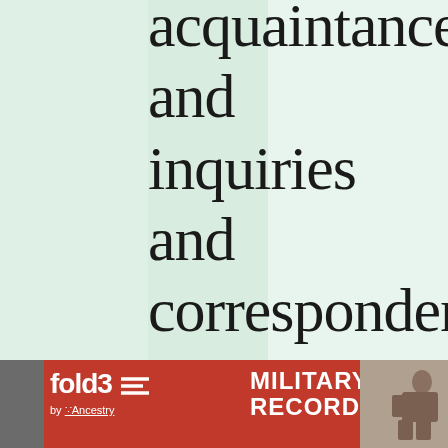acquaintance and inquiries and correspondence My Coexecutrix Harriet Dickerson
[Figure (infographic): fold3 by Ancestry military records advertisement banner with red background, fold3 logo, Search Now button, soldier photograph, and close button]